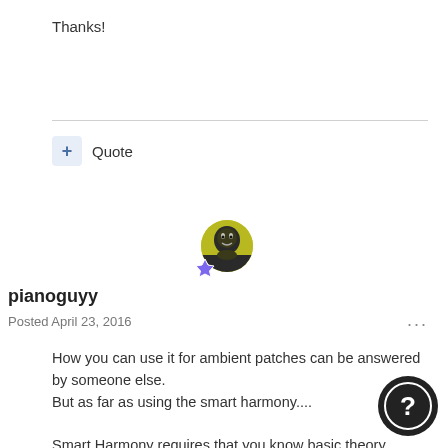Thanks!
+ Quote
[Figure (illustration): User avatar circle with badge]
pianoguyy
Posted April 23, 2016
How you can use it for ambient patches can be answered by someone else.
But as far as using the smart harmony....

Smart Harmony requires that you know basic theory (scales and keys).

It is "smart". It doesn't do a simple +3 (half steps) above note you are playing.